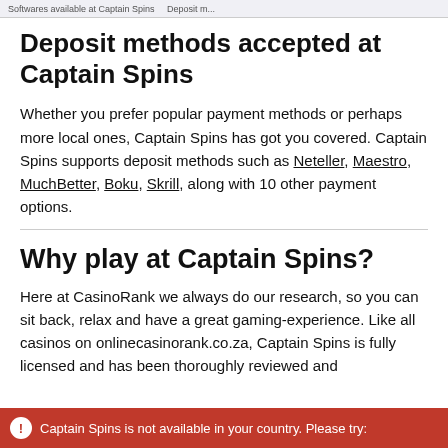Softwares available at Captain Spins   Deposit m...
Deposit methods accepted at Captain Spins
Whether you prefer popular payment methods or perhaps more local ones, Captain Spins has got you covered. Captain Spins supports deposit methods such as Neteller, Maestro, MuchBetter, Boku, Skrill, along with 10 other payment options.
Why play at Captain Spins?
Here at CasinoRank we always do our research, so you can sit back, relax and have a great gaming-experience. Like all casinos on onlinecasinorank.co.za, Captain Spins is fully licensed and has been thoroughly reviewed and
Captain Spins is not available in your country. Please try: